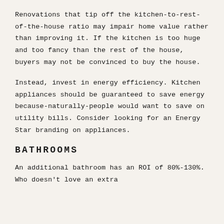Renovations that tip off the kitchen-to-rest-of-the-house ratio may impair home value rather than improving it. If the kitchen is too huge and too fancy than the rest of the house, buyers may not be convinced to buy the house.
Instead, invest in energy efficiency. Kitchen appliances should be guaranteed to save energy because-naturally-people would want to save on utility bills. Consider looking for an Energy Star branding on appliances.
BATHROOMS
An additional bathroom has an ROI of 80%-130%. Who doesn't love an extra